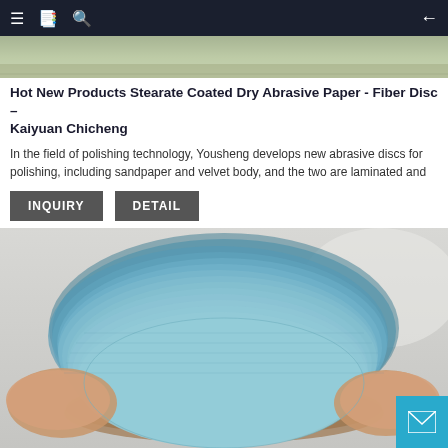≡ 📋 🔍 ←
[Figure (photo): Top strip showing a sandy/granular abrasive material close-up]
Hot New Products Stearate Coated Dry Abrasive Paper - Fiber Disc – Kaiyuan Chicheng
In the field of polishing technology, Yousheng develops new abrasive discs for polishing, including sandpaper and velvet body, and the two are laminated and
INQUIRY   DETAIL
[Figure (photo): Close-up photo of blue stearate coated dry abrasive fiber discs stacked/fanned out, showing the layered blue abrasive paper discs being held by hands]